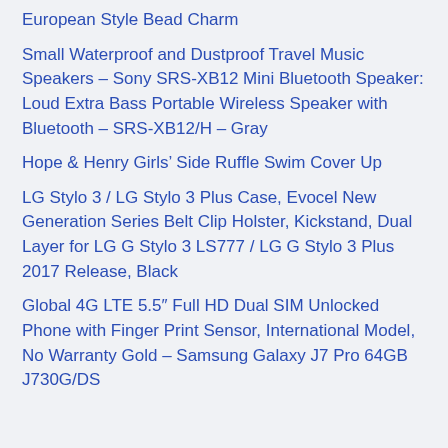European Style Bead Charm
Small Waterproof and Dustproof Travel Music Speakers – Sony SRS-XB12 Mini Bluetooth Speaker: Loud Extra Bass Portable Wireless Speaker with Bluetooth – SRS-XB12/H – Gray
Hope & Henry Girls' Side Ruffle Swim Cover Up
LG Stylo 3 / LG Stylo 3 Plus Case, Evocel New Generation Series Belt Clip Holster, Kickstand, Dual Layer for LG G Stylo 3 LS777 / LG G Stylo 3 Plus 2017 Release, Black
Global 4G LTE 5.5″ Full HD Dual SIM Unlocked Phone with Finger Print Sensor, International Model, No Warranty Gold – Samsung Galaxy J7 Pro 64GB J730G/DS